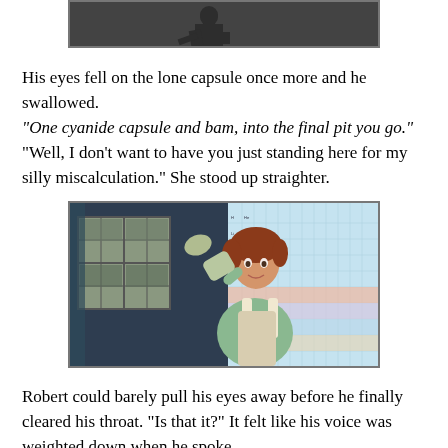[Figure (screenshot): Top partial image showing a dark scene with a figure silhouette against a grey background, cropped at top of page]
His eyes fell on the lone capsule once more and he swallowed.
“One cyanide capsule and bam, into the final pit you go.”
“Well, I don’t want to have you just standing here for my silly miscalculation.” She stood up straighter.
[Figure (screenshot): Screenshot from The Sims video game showing a female character with reddish-brown hair wearing a green top and apron, raising her gloved hand to her forehead in a saluting gesture, standing in front of a window and a periodic table of elements on the wall]
Robert could barely pull his eyes away before he finally cleared his throat. “Is that it?” It felt like his voice was weighted down when he spoke.
Professor Millgrim moved her book slightly and visibly relaxed. “Oh my goodness! Good eye, Robert! Thank you so